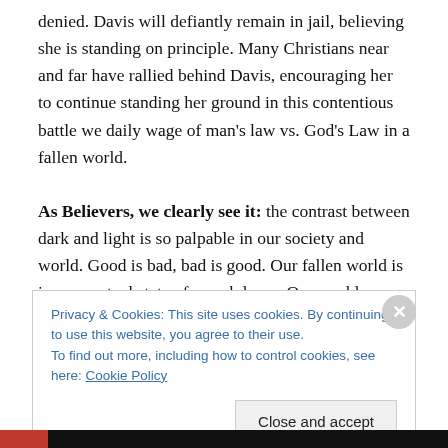denied. Davis will defiantly remain in jail, believing she is standing on principle. Many Christians near and far have rallied behind Davis, encouraging her to continue standing her ground in this contentious battle we daily wage of man's law vs. God's Law in a fallen world.

As Believers, we clearly see it: the contrast between dark and light is so palpable in our society and world. Good is bad, bad is good. Our fallen world is in a perpetual state of moral decay. One could wonder why God would allow such immorality to continue. In addition,
Privacy & Cookies: This site uses cookies. By continuing to use this website, you agree to their use.
To find out more, including how to control cookies, see here: Cookie Policy
Close and accept